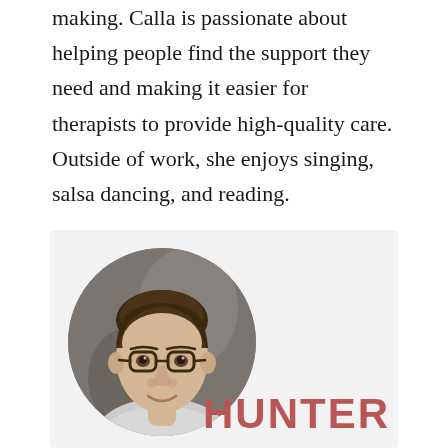making. Calla is passionate about helping people find the support they need and making it easier for therapists to provide high-quality care. Outside of work, she enjoys singing, salsa dancing, and reading.
[Figure (photo): Circular headshot photo of a young man with brown hair and glasses, wearing a light-colored shirt, with the name 'HUNTER' in large bold red letters overlaid on the bottom right of the card.]